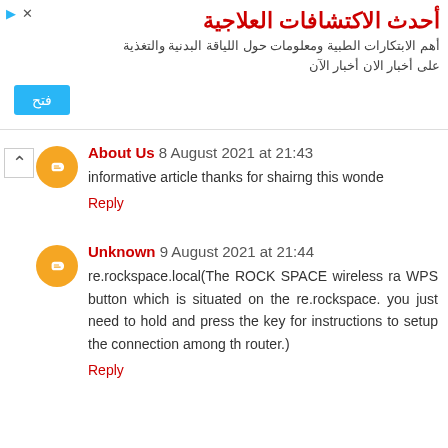[Figure (other): Arabic language advertisement banner with title 'أحدث الاكتشافات العلاجية' and subtitle text about medical innovations, with an orange 'فتح' button and navigation icons]
About Us 8 August 2021 at 21:43
informative article thanks for shairng this wonde
Reply
Unknown 9 August 2021 at 21:44
re.rockspace.local(The ROCK SPACE wireless ra WPS button which is situated on the re.rockspace. you just need to hold and press the key for instructions to setup the connection among th router.)
Reply